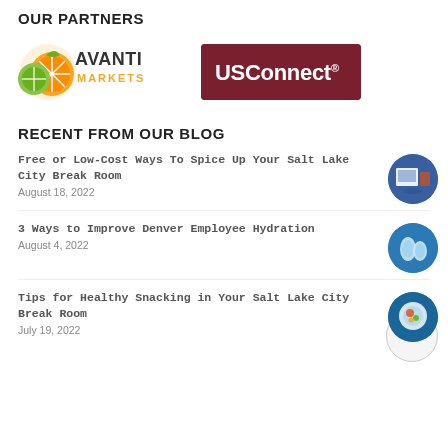OUR PARTNERS
[Figure (logo): Avanti Markets logo - orange/lime citrus graphic with text AVANTI MARKETS]
[Figure (logo): USConnect logo - white text on dark red/maroon background with registered trademark symbol]
RECENT FROM OUR BLOG
Free or Low-Cost Ways To Spice Up Your Salt Lake City Break Room
August 18, 2022
3 Ways to Improve Denver Employee Hydration
August 4, 2022
Tips for Healthy Snacking in Your Salt Lake City Break Room
July 19, 2022